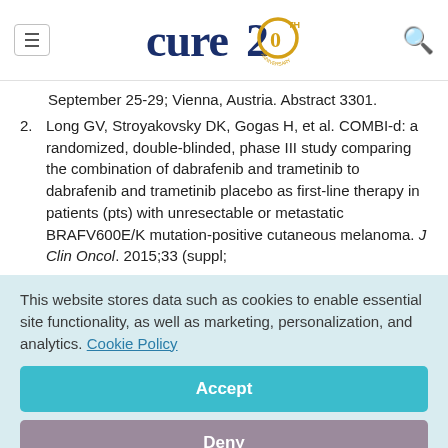cure 20th anniversary logo and navigation
September 25-29; Vienna, Austria. Abstract 3301.
2. Long GV, Stroyakovsky DK, Gogas H, et al. COMBI-d: a randomized, double-blinded, phase III study comparing the combination of dabrafenib and trametinib to dabrafenib and trametinib placebo as first-line therapy in patients (pts) with unresectable or metastatic BRAFV600E/K mutation-positive cutaneous melanoma. J Clin Oncol. 2015;33 (suppl;
This website stores data such as cookies to enable essential site functionality, as well as marketing, personalization, and analytics. Cookie Policy
Accept
Deny